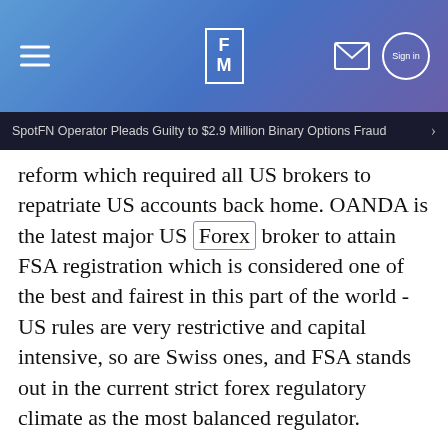FM | SpotFN Operator Pleads Guilty to $2.9 Million Binary Options Fraud
reform which required all US brokers to repatriate US accounts back home. OANDA is the latest major US Forex broker to attain FSA registration which is considered one of the best and fairest in this part of the world - US rules are very restrictive and capital intensive, so are Swiss ones, and FSA stands out in the current strict forex regulatory climate as the most balanced regulator.
FSA registration will allow OANDA to offer more flexible conditions to its European